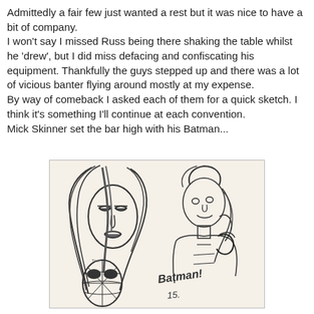Admittedly a fair few just wanted a rest but it was nice to have a bit of company.
I won't say I missed Russ being there shaking the table whilst he 'drew', but I did miss defacing and confiscating his equipment. Thankfully the guys stepped up and there was a lot of vicious banter flying around mostly at my expense.
By way of comeback I asked each of them for a quick sketch. I think it's something I'll continue at each convention.
Mick Skinner set the bar high with his Batman...
[Figure (illustration): Hand-drawn sketch showing two figures (a woman with flowing hair on the left and a man on the right), a Spider-Man mask in the lower left, and a handwritten signature/text in the lower right reading 'Batman!' with initials.]